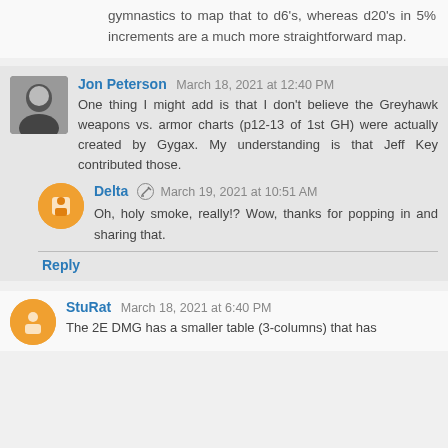gymnastics to map that to d6's, whereas d20's in 5% increments are a much more straightforward map.
Jon Peterson  March 18, 2021 at 12:40 PM
One thing I might add is that I don't believe the Greyhawk weapons vs. armor charts (p12-13 of 1st GH) were actually created by Gygax. My understanding is that Jeff Key contributed those.
Delta  March 19, 2021 at 10:51 AM
Oh, holy smoke, really!? Wow, thanks for popping in and sharing that.
Reply
StuRat  March 18, 2021 at 6:40 PM
The 2E DMG has a smaller table (3-columns) that has